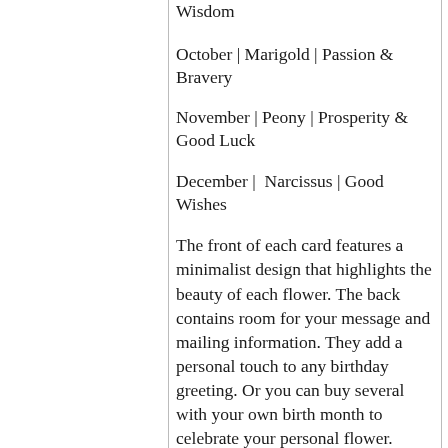Wisdom
October | Marigold | Passion & Bravery
November | Peony | Prosperity & Good Luck
December |  Narcissus | Good Wishes
The front of each card features a minimalist design that highlights the beauty of each flower. The back contains room for your message and mailing information. They add a personal touch to any birthday greeting. Or you can buy several with your own birth month to celebrate your personal flower.